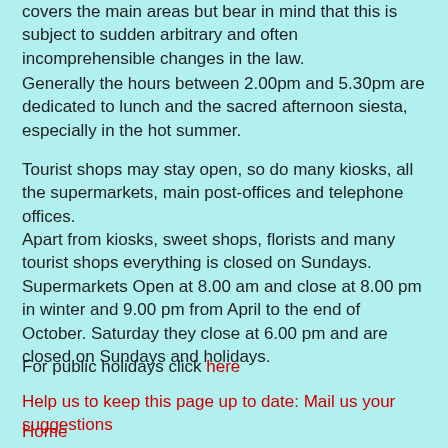covers the main areas but bear in mind that this is subject to sudden arbitrary and often incomprehensible changes in the law.
Generally the hours between 2.00pm and 5.30pm are dedicated to lunch and the sacred afternoon siesta, especially in the hot summer.
Tourist shops may stay open, so do many kiosks, all the supermarkets, main post-offices and telephone offices.
Apart from kiosks, sweet shops, florists and many tourist shops everything is closed on Sundays. Supermarkets Open at 8.00 am and close at 8.00 pm in winter and 9.00 pm from April to the end of October. Saturday they close at 6.00 pm and are closed on Sundays and holidays.
For public holidays click here
Help us to keep this page up to date: Mail us your suggestions
Home